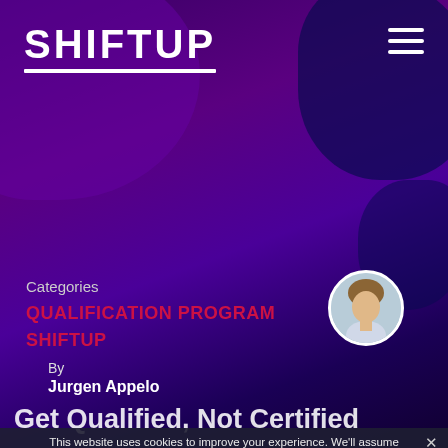[Figure (logo): SHIFTUP logo in bold white uppercase text with underline on purple gradient background]
[Figure (illustration): Hamburger menu icon (three white horizontal lines) in top right corner]
Categories
QUALIFICATION PROGRAM
SHIFTUP
[Figure (photo): Circular avatar photo of a man (Jurgen Appelo)]
By
Jurgen Appelo
Get Qualified, Not Certified
This website uses cookies to improve your experience. We'll assume you're ok with this, but you can opt-out if you wish.
Ok
Privacy policy
shiftup.work
[Figure (screenshot): Partial image of QUALIFICATION OF PROFESSIONALS document/slide]